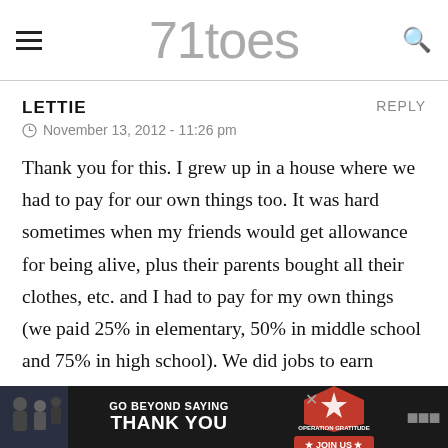71toes
LETTIE
REPLY
November 13, 2012 - 11:26 pm
Thank you for this. I grew up in a house where we had to pay for our own things too. It was hard sometimes when my friends would get allowance for being alive, plus their parents bought all their clothes, etc. and I had to pay for my own things (we paid 25% in elementary, 50% in middle school and 75% in high school). We did jobs to earn money but also just because when you live in a house and are part of a family you should do your part just because and not for money. I have young kids and have just recently been trying to figure this all our for our fa
[Figure (infographic): Advertisement banner: GO BEYOND SAYING THANK YOU – Operation Gratitude JOIN US]